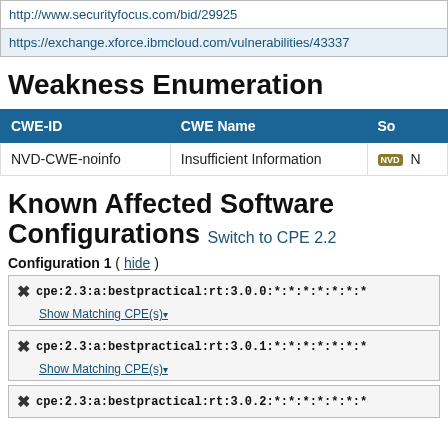| URL |
| --- |
| http://www.securityfocus.com/bid/29925 |
| https://exchange.xforce.ibmcloud.com/vulnerabilities/43337 |
Weakness Enumeration
| CWE-ID | CWE Name | So... |
| --- | --- | --- |
| NVD-CWE-noinfo | Insufficient Information | [NVD] N... |
Known Affected Software Configurations
Configuration 1 ( hide )
cpe:2.3:a:bestpractical:rt:3.0.0:*:*:*:*:*:*:*
Show Matching CPE(s)▾
cpe:2.3:a:bestpractical:rt:3.0.1:*:*:*:*:*:*:*
Show Matching CPE(s)▾
cpe:2.3:a:bestpractical:rt:3.0.2:*:*:*:*:*:*:*